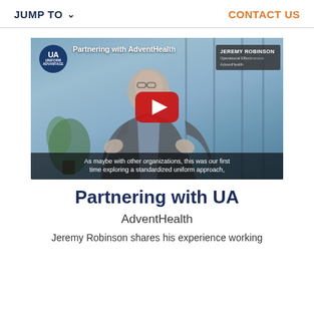JUMP TO   CONTACT US
[Figure (screenshot): YouTube video thumbnail showing a man in a suit gesturing, with UA (Uniform Advantage) logo badge, video title 'Partnering with AdventHealth', speaker name 'JEREMY ROBINSON - AdventHealth', play button overlay, and subtitle text 'As maybe with other organizations, this was our first time exploring a standardized uniform approach,']
Partnering with UA
AdventHealth
Jeremy Robinson shares his experience working